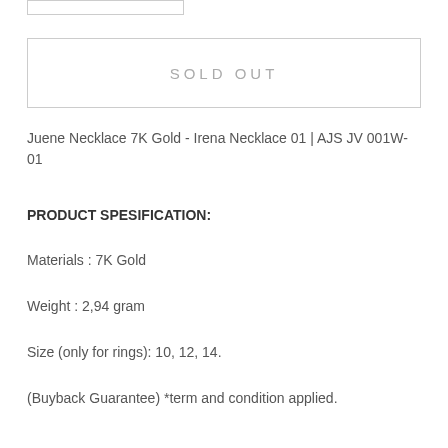[Figure (other): Small rectangular box outline at top left]
SOLD OUT
Juene Necklace 7K Gold - Irena Necklace 01 | AJS JV 001W-01
PRODUCT SPESIFICATION:
Materials : 7K Gold
Weight : 2,94 gram
Size (only for rings): 10, 12, 14.
(Buyback Guarantee) *term and condition applied.